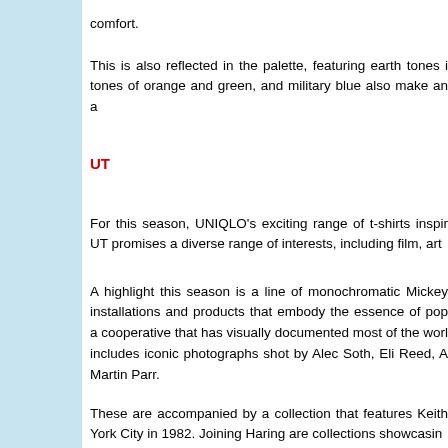comfort.
This is also reflected in the palette, featuring earth tones i tones of orange and green, and military blue also make an a
UT
For this season, UNIQLO's exciting range of t-shirts inspir UT promises a diverse range of interests, including film, art
A highlight this season is a line of monochromatic Mickey installations and products that embody the essence of pop a cooperative that has visually documented most of the worl includes iconic photographs shot by Alec Soth, Eli Reed, A Martin Parr.
These are accompanied by a collection that features Keith York City in 1982. Joining Haring are collections showcasin